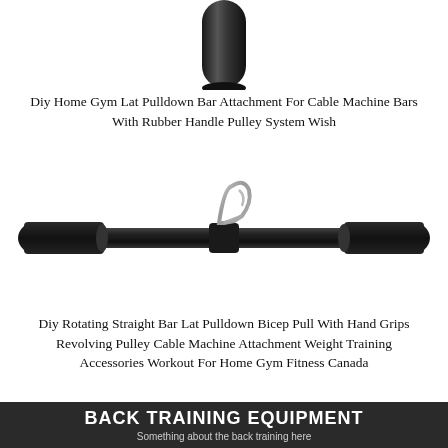[Figure (photo): Close-up photo of a black cylindrical bar end/handle top portion of a lat pulldown attachment, shown against white background]
Diy Home Gym Lat Pulldown Bar Attachment For Cable Machine Bars With Rubber Handle Pulley System Wish
[Figure (photo): Photo of a black straight bar lat pulldown attachment with rubber hand grips on each end and a silver carabiner/swivel clip in the center, shown against white background]
Diy Rotating Straight Bar Lat Pulldown Bicep Pull With Hand Grips Revolving Pulley Cable Machine Attachment Weight Training Accessories Workout For Home Gym Fitness Canada
BACK TRAINING EQUIPMENT